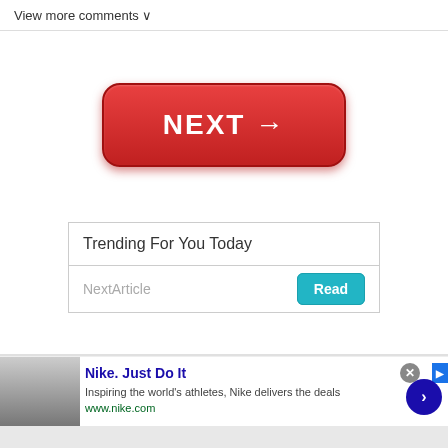View more comments ∨
[Figure (screenshot): Red NEXT button with arrow pointing right]
Trending For You Today
NextArticle
[Figure (screenshot): Nike advertisement banner: Nike. Just Do It – Inspiring the world's athletes, Nike delivers the deals. www.nike.com]